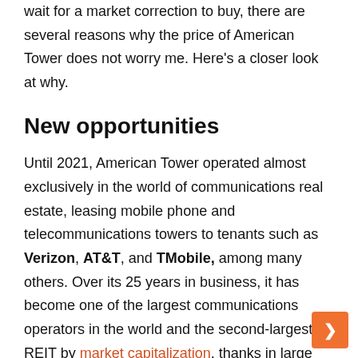wait for a market correction to buy, there are several reasons why the price of American Tower does not worry me. Here's a closer look at why.
New opportunities
Until 2021, American Tower operated almost exclusively in the world of communications real estate, leasing mobile phone and telecommunications towers to tenants such as Verizon, AT&T, and TMobile, among many others. Over its 25 years in business, it has become one of the largest communications operators in the world and the second-largest REIT by market capitalization, thanks in large part to its portfolio of more than 214